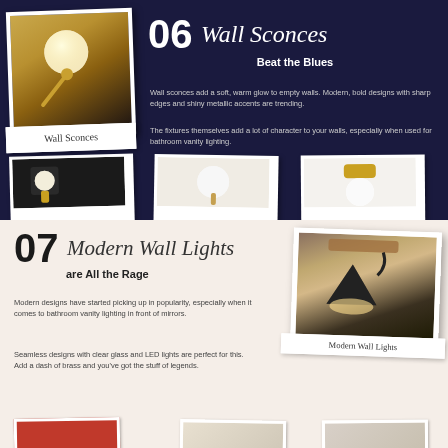[Figure (photo): Wall sconce photo with gold arm and globe on dark background, with 'Wall Sconces' label]
06 Wall Sconces Beat the Blues
Wall sconces add a soft, warm glow to empty walls. Modern, bold designs with sharp edges and shiny metallic accents are trending.
The fixtures themselves add a lot of character to your walls, especially when used for bathroom vanity lighting.
[Figure (photo): Three polaroid photos of wall sconces: dark wall with gold globe, white wall sconce, white globe on black cap with gold]
07 Modern Wall Lights are All the Rage
Modern designs have started picking up in popularity, especially when it comes to bathroom vanity lighting in front of mirrors.
Seamless designs with clear glass and LED lights are perfect for this. Add a dash of brass and you've got the stuff of legends.
[Figure (photo): Modern wall light photo with black shade on wood bracket, with 'Modern Wall Lights' label]